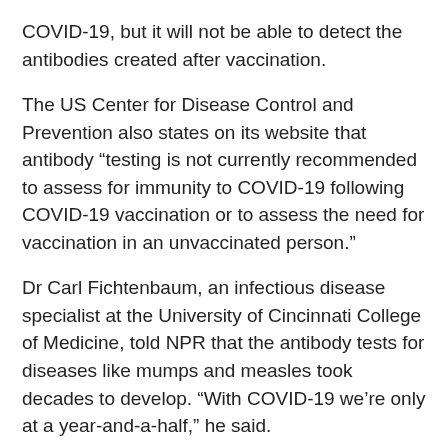COVID-19, but it will not be able to detect the antibodies created after vaccination.
The US Center for Disease Control and Prevention also states on its website that antibody “testing is not currently recommended to assess for immunity to COVID-19 following COVID-19 vaccination or to assess the need for vaccination in an unvaccinated person.”
Dr Carl Fichtenbaum, an infectious disease specialist at the University of Cincinnati College of Medicine, told NPR that the antibody tests for diseases like mumps and measles took decades to develop. “With COVID-19 we’re only at a year-and-a-half,” he said.
While there are labs that are creating antibody tests specifically to trace COVID-19 spike proteins, until those are commercially available, the tests you are getting done right now are not reliable.